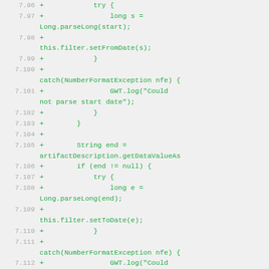[Figure (screenshot): Code diff snippet showing lines 7.96 to 7.116, displaying Java/GWT code for parsing start and end dates from artifact descriptions, with try/catch blocks for NumberFormatException handling. Lines are prefixed with '+' indicating added lines in a diff view.]